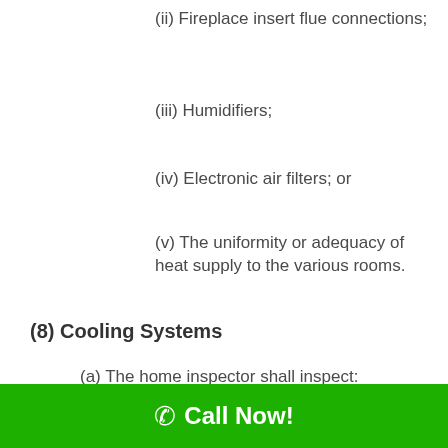(ii) Fireplace insert flue connections;
(iii) Humidifiers;
(iv) Electronic air filters; or
(v) The uniformity or adequacy of heat supply to the various rooms.
(8) Cooling Systems
(a) The home inspector shall inspect:
1. Central air conditioning and through-the-wall installed cooling
Call Now!